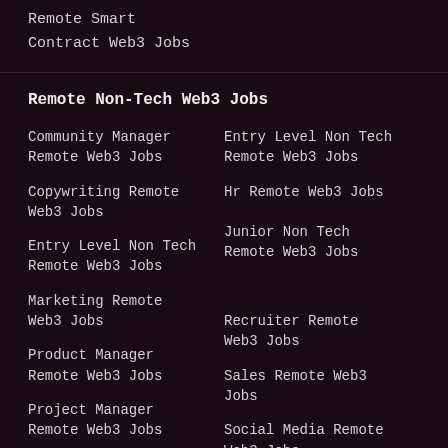Remote Smart
Contract Web3 Jobs
Remote Non-Tech Web3 Jobs
Community Manager Remote Web3 Jobs
Entry Level Non Tech Remote Web3 Jobs
Copywriting Remote Web3 Jobs
Hr Remote Web3 Jobs
Entry Level Non Tech Remote Web3 Jobs
Junior Non Tech Remote Web3 Jobs
Marketing Remote Web3 Jobs
Recruiter Remote Web3 Jobs
Product Manager Remote Web3 Jobs
Sales Remote Web3 Jobs
Project Manager Remote Web3 Jobs
Social Media Remote Web3 Jobs